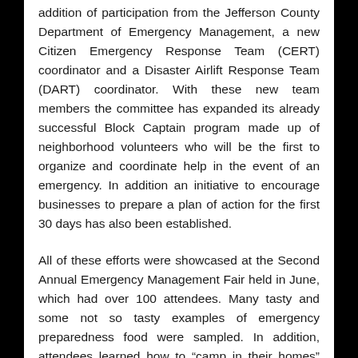addition of participation from the Jefferson County Department of Emergency Management, a new Citizen Emergency Response Team (CERT) coordinator and a Disaster Airlift Response Team (DART) coordinator. With these new team members the committee has expanded its already successful Block Captain program made up of neighborhood volunteers who will be the first to organize and coordinate help in the event of an emergency. In addition an initiative to encourage businesses to prepare a plan of action for the first 30 days has also been established.
All of these efforts were showcased at the Second Annual Emergency Management Fair held in June, which had over 100 attendees. Many tasty and some not so tasty examples of emergency preparedness food were sampled. In addition, attendees learned how to “camp in their homes” safely turn off utilities, effectively store water and food supplies, and try out the wide variety of emergency gadgets available for purchase.